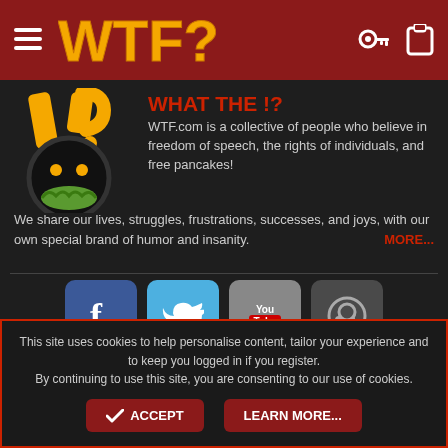WTF? [logo with hamburger menu and icons]
WHAT THE !?
WTF.com is a collective of people who believe in freedom of speech, the rights of individuals, and free pancakes! We share our lives, struggles, frustrations, successes, and joys, with our own special brand of humor and insanity. MORE...
[Figure (logo): WTF.com circular mascot logo with exclamation marks and cartoon face]
[Figure (logo): Facebook social media button - blue square with white f]
[Figure (logo): Twitter social media button - light blue square with white bird]
[Figure (logo): YouTube social media button - grey square with YouTube logo]
[Figure (logo): Steam social media button - dark grey square with Steam logo]
This site uses cookies to help personalise content, tailor your experience and to keep you logged in if you register. By continuing to use this site, you are consenting to our use of cookies.
ACCEPT
LEARN MORE...